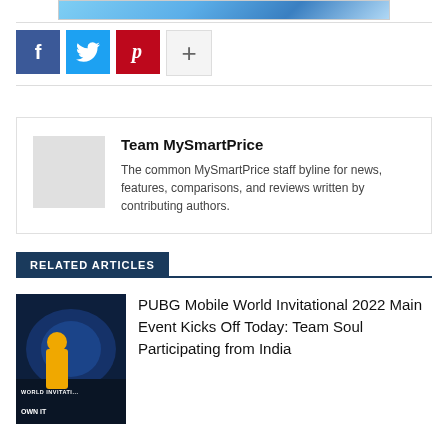[Figure (photo): Partial top banner image showing a blue gradient, appears to be a smartphone or tech product advertisement]
[Figure (infographic): Social share buttons: Facebook (blue, f icon), Twitter (light blue, bird icon), Pinterest (red, P icon), More/Add (light gray, plus icon)]
Team MySmartPrice
The common MySmartPrice staff byline for news, features, comparisons, and reviews written by contributing authors.
RELATED ARTICLES
PUBG Mobile World Invitational 2022 Main Event Kicks Off Today: Team Soul Participating from India
[Figure (photo): PUBG Mobile World Invitational 2022 thumbnail image showing a character in yellow with 'WORLD INVITATIONAL' and 'OWN IT' text overlay, blue sci-fi background]